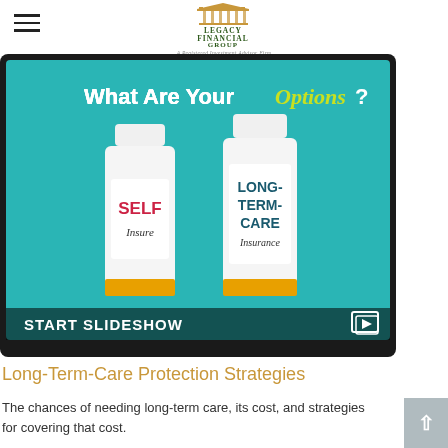Legacy Financial Group — A Registered Investment Advisor Firm
[Figure (screenshot): A tablet screen showing two prescription medicine bottles on a teal background. The left bottle is labeled 'SELF Insure' in red/dark text, the right is labeled 'LONG-TERM-CARE Insurance' in teal/dark text. The heading reads 'What Are Your Options?' with 'Options' in yellow-green italic. A 'START SLIDESHOW' label appears at the bottom left with a slideshow icon at the bottom right.]
Long-Term-Care Protection Strategies
The chances of needing long-term care, its cost, and strategies for covering that cost.